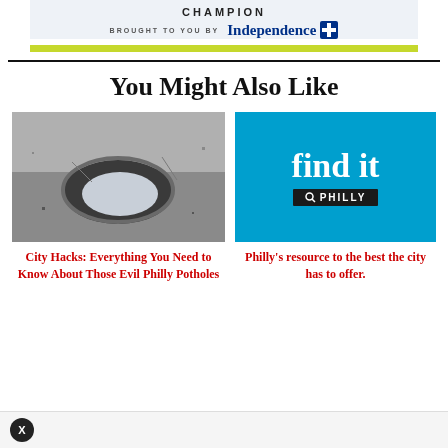[Figure (logo): Sponsor banner: CHAMPION brought to you by Independence Blue Cross logo, with green bar below]
You Might Also Like
[Figure (photo): Photo of a pothole in asphalt pavement, close-up, winter/wet conditions]
[Figure (logo): Find it Philly logo: bright blue background with 'find it' in white serif text and 'PHILLY' in black badge with magnifier icon]
City Hacks: Everything You Need to Know About Those Evil Philly Potholes
Philly's resource to the best the city has to offer.